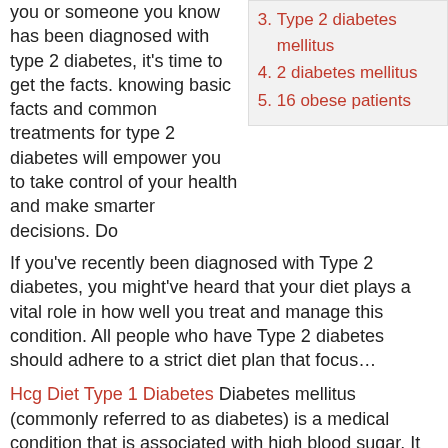you or someone you know has been diagnosed with type 2 diabetes, it's time to get the facts. knowing basic facts and common treatments for type 2 diabetes will empower you to take control of your health and make smarter decisions. Do
3. Type 2 diabetes mellitus
4. 2 diabetes mellitus
5. 16 obese patients
If you've recently been diagnosed with Type 2 diabetes, you might've heard that your diet plays a vital role in how well you treat and manage this condition. All people who have Type 2 diabetes should adhere to a strict diet plan that focus…
Hcg Diet Type 1 Diabetes Diabetes mellitus (commonly referred to as diabetes) is a medical condition that is associated with high blood sugar. It results from a lack of, or insufficiency of, the hormone insulin which is produced by the pancreas. There are two types… Dec 18, 2017  · The idea behind the diet plan in Eat Right 4 Your Type,